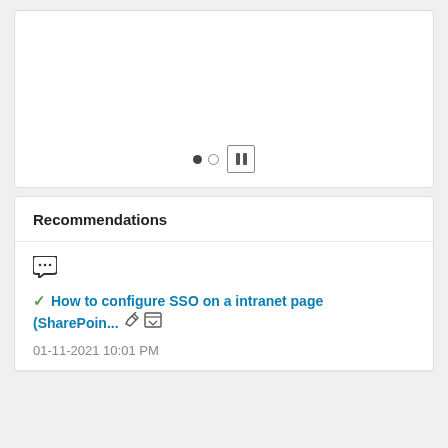[Figure (screenshot): Top card/panel with carousel navigation controls: a filled dot, an empty dot, and a pause button (two vertical bars inside a square border).]
Recommendations
[Figure (illustration): Chat/comment bubble icon]
✔ How to configure SSO on a intranet page (SharePoin... 🔗 🖼
01-11-2021 10:01 PM